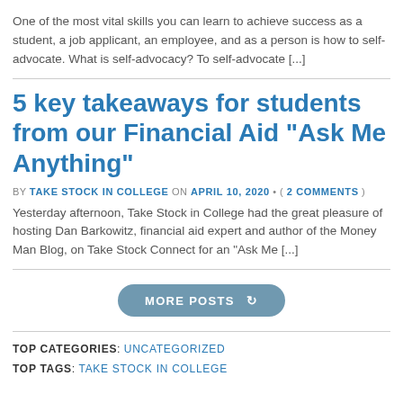One of the most vital skills you can learn to achieve success as a student, a job applicant, an employee, and as a person is how to self-advocate. What is self-advocacy? To self-advocate [...]
5 key takeaways for students from our Financial Aid “Ask Me Anything”
BY TAKE STOCK IN COLLEGE ON APRIL 10, 2020 • ( 2 COMMENTS )
Yesterday afternoon, Take Stock in College had the great pleasure of hosting Dan Barkowitz, financial aid expert and author of the Money Man Blog, on Take Stock Connect for an “Ask Me [...]
MORE POSTS
TOP CATEGORIES: UNCATEGORIZED
TOP TAGS: TAKE STOCK IN COLLEGE